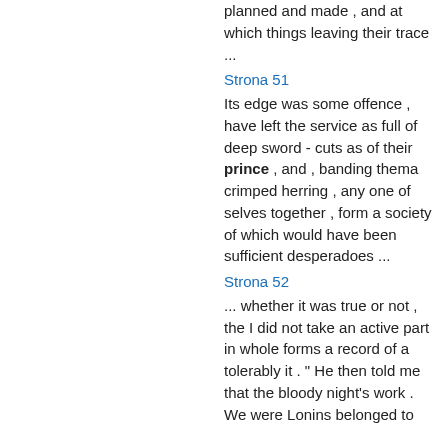planned and made , and at which things leaving their trace ...
Strona 51
Its edge was some offence , have left the service as full of deep sword - cuts as of their prince , and , banding thema crimped herring , any one of selves together , form a society of which would have been sufficient desperadoes ...
Strona 52
... whether it was true or not , the I did not take an active part in whole forms a record of a tolerably it . " He then told me that the bloody night's work . We were Lonins belonged to